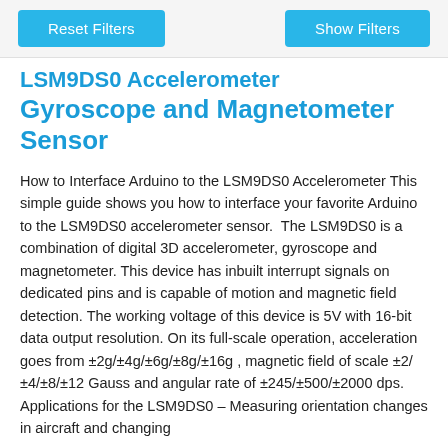Reset Filters    Show Filters
LSM9DS0 Accelerometer Gyroscope and Magnetometer Sensor
How to Interface Arduino to the LSM9DS0 Accelerometer This simple guide shows you how to interface your favorite Arduino to the LSM9DS0 accelerometer sensor.  The LSM9DS0 is a combination of digital 3D accelerometer, gyroscope and magnetometer. This device has inbuilt interrupt signals on dedicated pins and is capable of motion and magnetic field detection. The working voltage of this device is 5V with 16-bit data output resolution. On its full-scale operation, acceleration goes from ±2g/±4g/±6g/±8g/±16g , magnetic field of scale ±2/±4/±8/±12 Gauss and angular rate of ±245/±500/±2000 dps. Applications for the LSM9DS0 – Measuring orientation changes in aircraft and changing